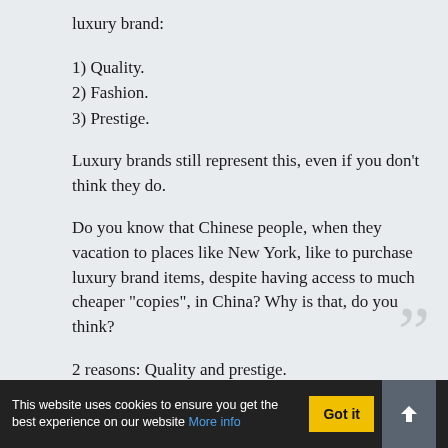luxury brand:
1) Quality.
2) Fashion.
3) Prestige.
Luxury brands still represent this, even if you don't think they do.
Do you know that Chinese people, when they vacation to places like New York, like to purchase luxury brand items, despite having access to much cheaper "copies", in China? Why is that, do you think?
2 reasons: Quality and prestige.
You don't have to "dress down". You simply don't go to places where this would happen.
This website uses cookies to ensure you get the best experience on our website More info